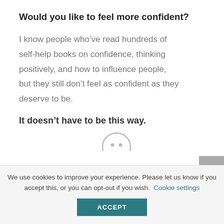Would you like to feel more confident?
I know people who’ve read hundreds of self-help books on confidence, thinking positively, and how to influence people, but they still don’t feel as confident as they deserve to be.
It doesn’t have to be this way.
[Figure (illustration): Partial view of a circular speech bubble or emoji icon at the bottom of the content area]
We use cookies to improve your experience. Please let us know if you accept this, or you can opt-out if you wish. Cookie settings ACCEPT